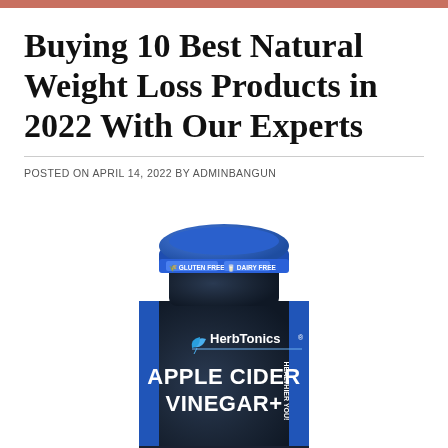Buying 10 Best Natural Weight Loss Products in 2022 With Our Experts
POSTED ON APRIL 14, 2022 BY ADMINBANGUN
[Figure (photo): HerbTonics Apple Cider Vinegar+ supplement bottle in dark blue/black with blue cap. Cap label reads: GLUTEN FREE, DAIRY FREE. Bottle label shows HerbTonics logo and text APPLE CIDER VINEGAR+. Side text reads HEALTHIER YOU!]